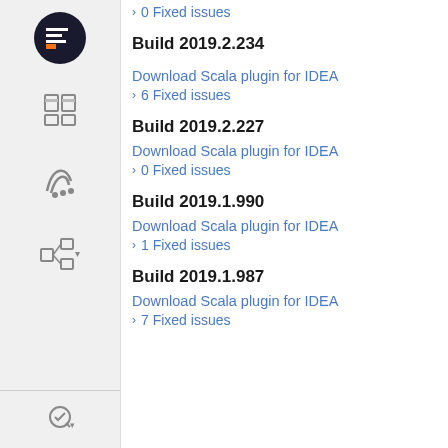› 0 Fixed issues
Build 2019.2.234
Download Scala plugin for IDEA
› 6 Fixed issues
Build 2019.2.227
Download Scala plugin for IDEA
› 0 Fixed issues
Build 2019.1.990
Download Scala plugin for IDEA
› 1 Fixed issues
Build 2019.1.987
Download Scala plugin for IDEA
› 7 Fixed issues